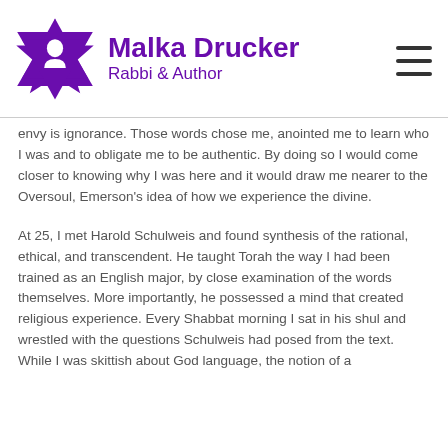[Figure (logo): Malka Drucker Rabbi & Author logo with purple Star of David silhouette and site name]
envy is ignorance. Those words chose me, anointed me to learn who I was and to obligate me to be authentic. By doing so I would come closer to knowing why I was here and it would draw me nearer to the Oversoul, Emerson's idea of how we experience the divine.
At 25, I met Harold Schulweis and found synthesis of the rational, ethical, and transcendent. He taught Torah the way I had been trained as an English major, by close examination of the words themselves. More importantly, he possessed a mind that created religious experience. Every Shabbat morning I sat in his shul and wrestled with the questions Schulweis had posed from the text. While I was skittish about God language, the notion of a